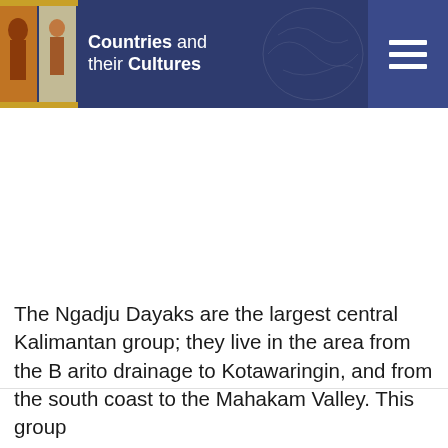Countries and their Cultures
The Ngadju Dayaks are the largest central Kalimantan group; they live in the area from the B arito drainage to Kotawaringin, and from the south coast to the Mahakam Valley. This group